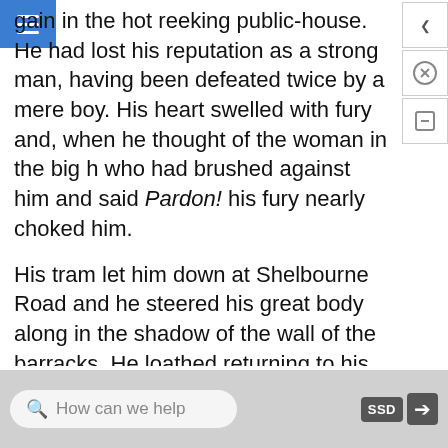gain in the hot reeking public-house. He had lost his reputation as a strong man, having been defeated twice by a mere boy. His heart swelled with fury and, when he thought of the woman in the big h who had brushed against him and said Pardon! his fury nearly choked him.
His tram let him down at Shelbourne Road and he steered his great body along in the shadow of the wall of the barracks. He loathed returning to his home. When he went in by the side-door he found the kitchen empty and the kitchen fire nearly out. He bawled upstairs:
“Ada! Ada!”